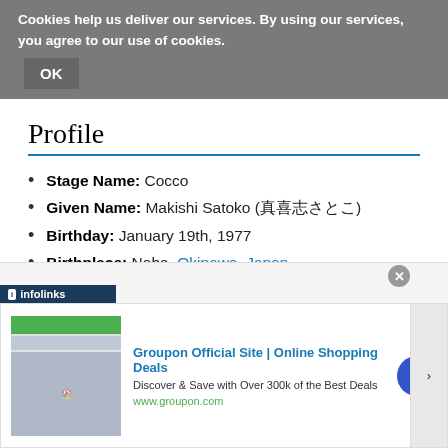Cookies help us deliver our services. By using our services, you agree to our use of cookies. OK
Profile
Stage Name: Cocco
Given Name: Makishi Satoko (真喜志さとこ)
Birthday: January 19th, 1977
Birthplace: Naha, Okinawa, Japan
Family: Mother, Father, Sister
Information
Cocco, born Makishi Satoko, has been around in the
[Figure (screenshot): Groupon advertisement overlay with infolinks branding, showing ad for Groupon Official Site | Online Shopping Deals]